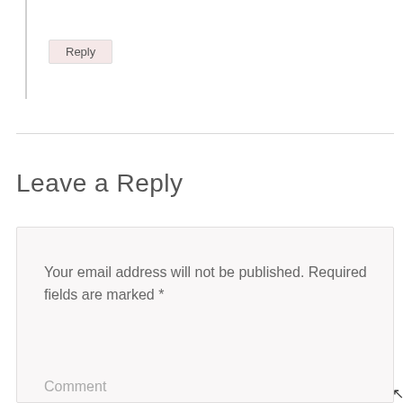Reply
Leave a Reply
Your email address will not be published. Required fields are marked *
Comment
Privacy & Cookies: This site uses cookies. By continuing to use this website, you agree to their use.
To find out more, including how to control cookies, see here: Cookie Policy